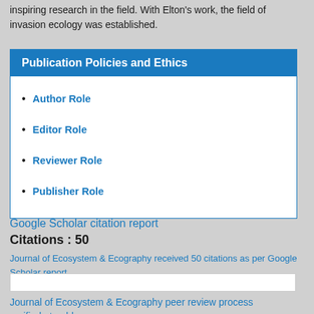inspiring research in the field. With Elton's work, the field of invasion ecology was established.
Publication Policies and Ethics
Author Role
Editor Role
Reviewer Role
Publisher Role
Google Scholar citation report
Citations : 50
Journal of Ecosystem & Ecography received 50 citations as per Google Scholar report
Journal of Ecosystem & Ecography peer review process verified at publons